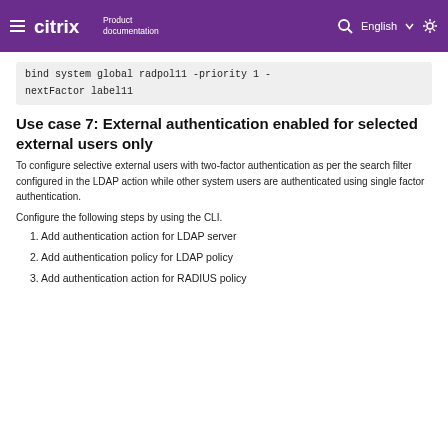Citrix Product documentation
bind system global radpol11 -priority 1 -nextFactor label11
Use case 7: External authentication enabled for selected external users only
To configure selective external users with two-factor authentication as per the search filter configured in the LDAP action while other system users are authenticated using single factor authentication.
Configure the following steps by using the CLI.
1. Add authentication action for LDAP server
2. Add authentication policy for LDAP policy
3. Add authentication action for RADIUS policy